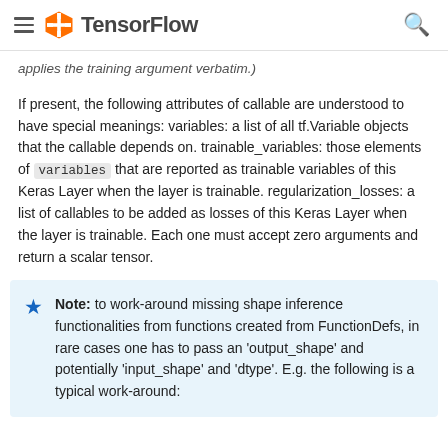TensorFlow
applies the training argument verbatim.)
If present, the following attributes of callable are understood to have special meanings: variables: a list of all tf.Variable objects that the callable depends on. trainable_variables: those elements of variables that are reported as trainable variables of this Keras Layer when the layer is trainable. regularization_losses: a list of callables to be added as losses of this Keras Layer when the layer is trainable. Each one must accept zero arguments and return a scalar tensor.
Note: to work-around missing shape inference functionalities from functions created from FunctionDefs, in rare cases one has to pass an 'output_shape' and potentially 'input_shape' and 'dtype'. E.g. the following is a typical work-around: